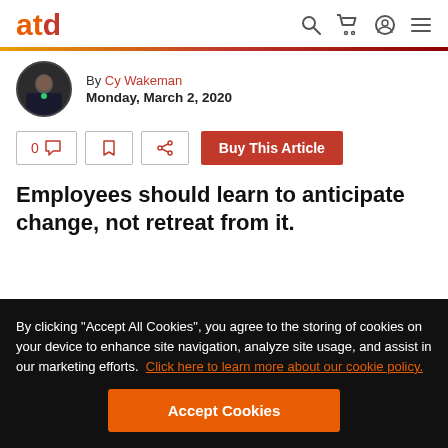atd
By Cy Wakeman
Monday, March 2, 2020
0 [comment icon] [bookmark icon] [share icon] Buy This Article
Employees should learn to anticipate change, not retreat from it.
By clicking “Accept All Cookies”, you agree to the storing of cookies on your device to enhance site navigation, analyze site usage, and assist in our marketing efforts. Click here to learn more about our cookie policy.
Accept Cookies